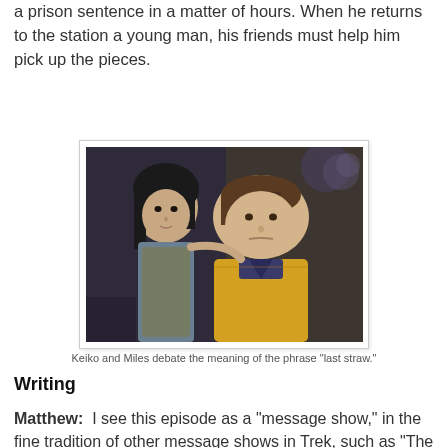a prison sentence in a matter of hours. When he returns to the station a young man, his friends must help him pick up the pieces.
[Figure (photo): Keiko and Miles from Star Trek DS9, Keiko looking at Miles with a serious expression, Miles in a yellow Starfleet uniform looking concerned.]
Keiko and Miles debate the meaning of the phrase "last straw."
Writing
Matthew:  I see this episode as a "message show," in the fine tradition of other message shows in Trek, such as "The Ultimate Computer" (mechanization displacing human labor)